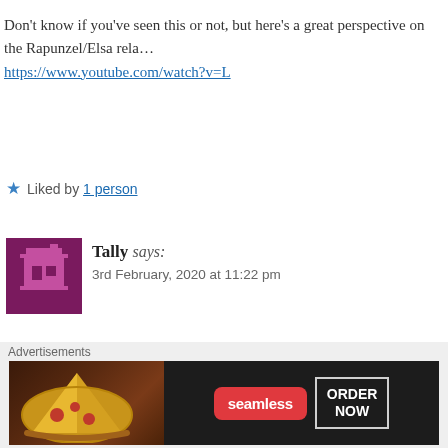Don't know if you've seen this or not, but here's a great perspective on the Rapunzel/Elsa rela... https://www.youtube.com/watch?v=L...
★ Liked by 1 person
Tally says:
3rd February, 2020 at 11:22 pm
And yet…now that Frozen II has com... a wedding at all. So there goes all tha...
★ Like
Advertisements
[Figure (other): Pixel avatar for user Tally — dark magenta/purple background with pixelated house/character icon]
[Figure (other): Seamless food delivery advertisement banner with pizza image on left, red Seamless logo badge in center, white ORDER NOW box on right, dark background]